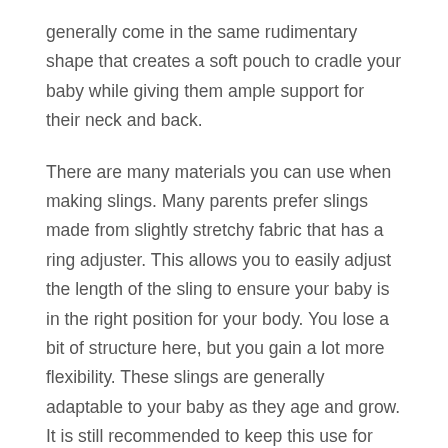generally come in the same rudimentary shape that creates a soft pouch to cradle your baby while giving them ample support for their neck and back.
There are many materials you can use when making slings. Many parents prefer slings made from slightly stretchy fabric that has a ring adjuster. This allows you to easily adjust the length of the sling to ensure your baby is in the right position for your body. You lose a bit of structure here, but you gain a lot more flexibility. These slings are generally adaptable to your baby as they age and grow. It is still recommended to keep this use for newborns as they are best carried in the cradle position.
The Boba Wrap is available in a baby wrap design which acts as a sort of middleman between the two carrier designs. The flexibility of the body sling can manage babies for up to 35 months with a bit more shape akin to the structured carrier. This wrap is usually 16 feet in length, so you will need to be able to manage it. However,